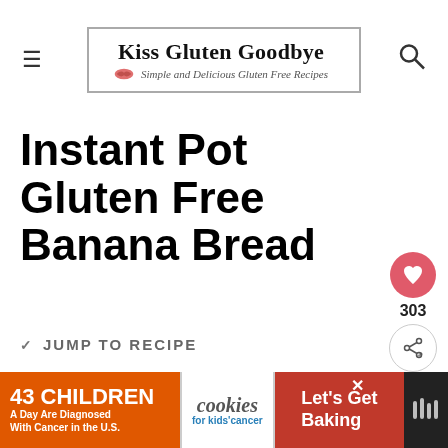Kiss Gluten Goodbye — Simple and Delicious Gluten Free Recipes
Instant Pot Gluten Free Banana Bread
JUMP TO RECIPE
Gluten Free Banana B...
done in the Instant Pot was so
[Figure (screenshot): Advertisement banner: '43 Children A Day Are Diagnosed With Cancer in the U.S.' with cookies for kids cancer logo and 'Let's Get Baking' call to action]